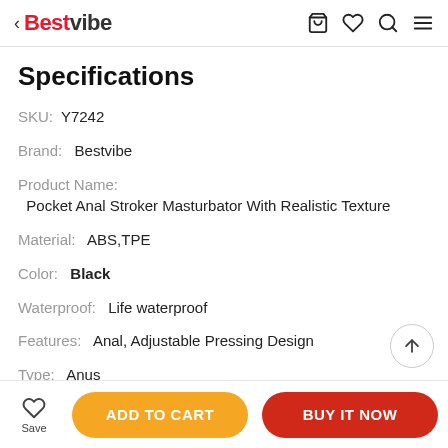< Bestvibe
Specifications
SKU:  Y7242
Brand:  Bestvibe
Product Name:  Pocket Anal Stroker Masturbator With Realistic Texture
Material:  ABS,TPE
Color:  Black
Waterproof:  Life waterproof
Features:  Anal, Adjustable Pressing Design
Type:  Anus
Save  ADD TO CART  BUY IT NOW